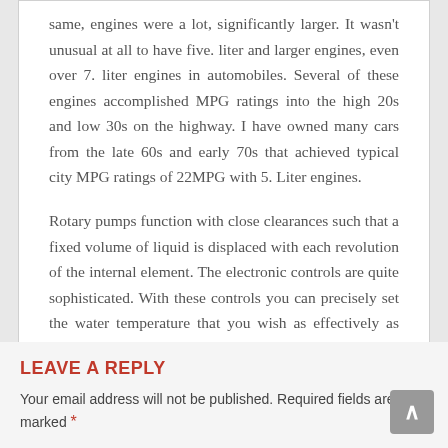same, engines were a lot, significantly larger. It wasn't unusual at all to have five. liter and larger engines, even over 7. liter engines in automobiles. Several of these engines accomplished MPG ratings into the high 20s and low 30s on the highway. I have owned many cars from the late 60s and early 70s that achieved typical city MPG ratings of 22MPG with 5. Liter engines.
Rotary pumps function with close clearances such that a fixed volume of liquid is displaced with each revolution of the internal element. The electronic controls are quite sophisticated. With these controls you can precisely set the water temperature that you wish as effectively as control the heating mode of the heating components.
LEAVE A REPLY
Your email address will not be published. Required fields are marked *